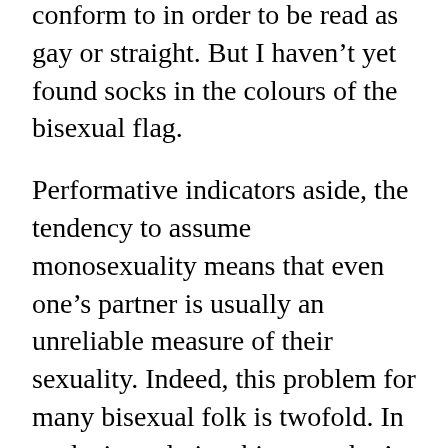conform to in order to be read as gay or straight. But I haven't yet found socks in the colours of the bisexual flag.
Performative indicators aside, the tendency to assume monosexuality means that even one's partner is usually an unreliable measure of their sexuality. Indeed, this problem for many bisexual folk is twofold. In exclusive relationships, we don't have a right to an identity that extends beyond the gender of our partners, but if we simultaneously express multiple facets of our identity, we confirm the biphobic opinions that we're all promiscuous, greedy or just experimenting.
These suspicions are pervasive: bisexual wom*n are edgy Gender Studies majors; bisexual men are